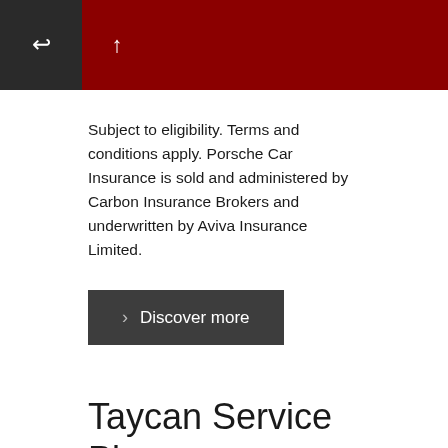← ↑
Subject to eligibility. Terms and conditions apply. Porsche Car Insurance is sold and administered by Carbon Insurance Brokers and underwritten by Aviva Insurance Limited.
Discover more
Taycan Service Plans
We understand you will always want to keep your Taycan in optimal condition. So we have created a range of simple service plans which offer fixed rates to protect you against